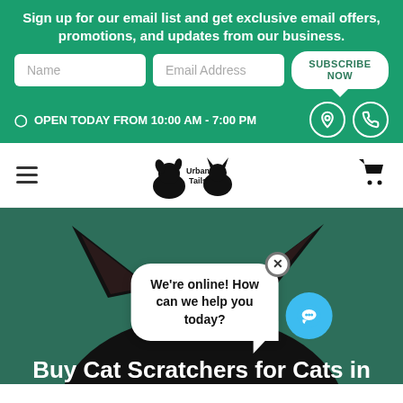Sign up for our email list and get exclusive email offers, promotions, and updates from our business.
[Figure (screenshot): Email subscription form with Name and Email Address input fields and a Subscribe Now button]
OPEN TODAY FROM 10:00 AM - 7:00 PM
[Figure (logo): Urban Tails pet store logo with dog and cat silhouette]
[Figure (photo): Black cat ears peeking up from bottom of green hero image with chat bubble overlay saying We're online! How can we help you today?]
We're online! How can we help you today?
Buy Cat Scratchers for Cats in